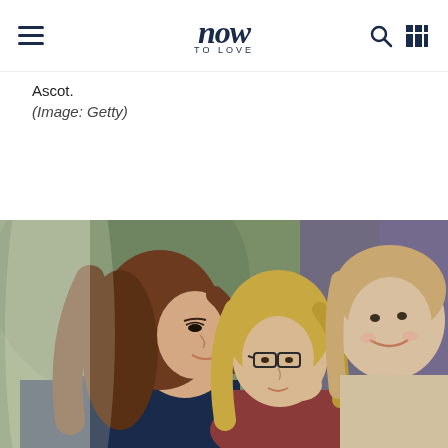now TO LOVE
Ascot.
(Image: Getty)
[Figure (photo): Two women leaning in close face-to-face as if greeting each other with a kiss on the cheek, with a smiling woman visible in the background. The woman on the left has long brown hair and is wearing a dark navy jacket. The woman in the center has blonde hair and glasses. Outdoor setting with blurred green and purple background.]